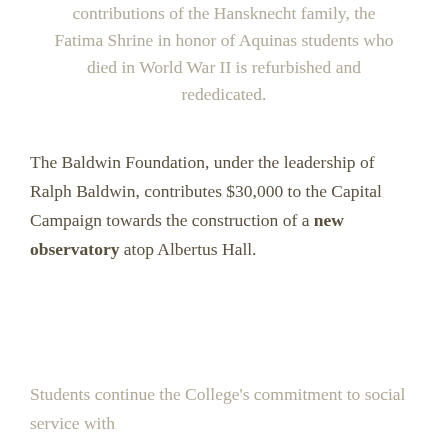contributions of the Hansknecht family, the Fatima Shrine in honor of Aquinas students who died in World War II is refurbished and rededicated.
The Baldwin Foundation, under the leadership of Ralph Baldwin, contributes $30,000 to the Capital Campaign towards the construction of a new observatory atop Albertus Hall.
Students continue the College's commitment to social service with